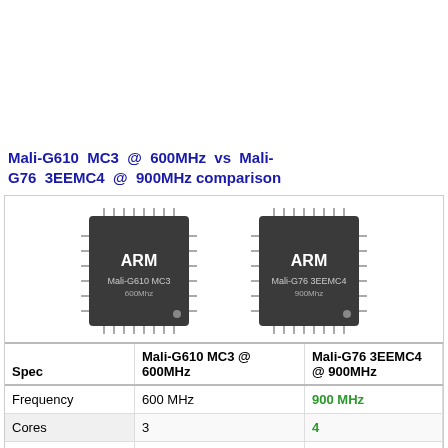Mali-G610 MC3 @ 600MHz vs Mali-G76 3EEMC4 @ 900MHz comparison
[Figure (illustration): Two ARM chip images side by side: Mali-G610 MC3 at 600MHz and Mali-G76 3EEMC4 at 900MHz]
| Spec | Mali-G610 MC3 @ 600MHz | Mali-G76 3EEMC4 @ 900MHz |
| --- | --- | --- |
| Frequency | 600 MHz | 900 MHz |
| Cores | 3 | 4 |
| Shaders | 0 | 0 |
| Lithography | 6 nm | 7 nm |
| Antutu 8 | 586434 | 296060 |